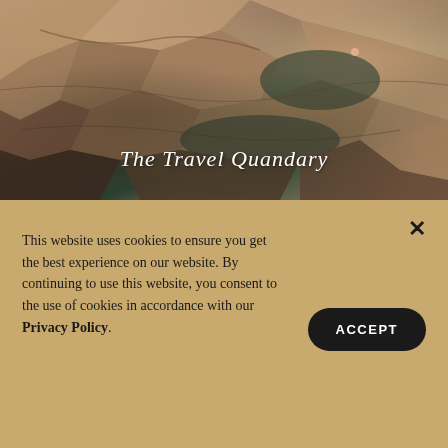[Figure (photo): Aerial view of rocky coastal cliffs with dark water and a tiny figure swimming, with cursive white text overlay reading 'The Travel Quandary']
This website uses cookies to ensure you get the best experience on our website. By continuing to use this website, you consent to the use of cookies in accordance with our Privacy Policy.